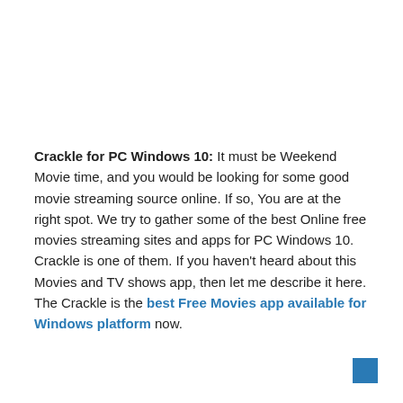Crackle for PC Windows 10: It must be Weekend Movie time, and you would be looking for some good movie streaming source online. If so, You are at the right spot. We try to gather some of the best Online free movies streaming sites and apps for PC Windows 10. Crackle is one of them. If you haven't heard about this Movies and TV shows app, then let me describe it here. The Crackle is the best Free Movies app available for Windows platform now.